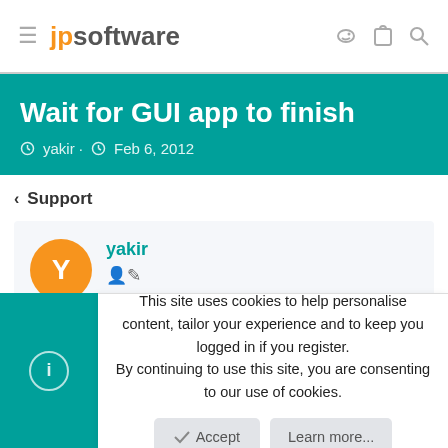jpsoftware
Wait for GUI app to finish
yakir · Feb 6, 2012
< Support
yakir
This site uses cookies to help personalise content, tailor your experience and to keep you logged in if you register. By continuing to use this site, you are consenting to our use of cookies.
Accept
Learn more...